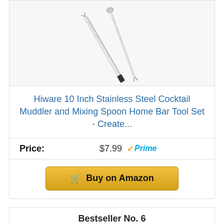[Figure (photo): Stainless steel cocktail muddler and mixing spoon bar tool set against white background]
Hiware 10 Inch Stainless Steel Cocktail Muddler and Mixing Spoon Home Bar Tool Set - Create...
Price: $7.99 Prime
Buy on Amazon
Bestseller No. 6
[Figure (photo): Two whiskey glasses with ice, partial view from above]